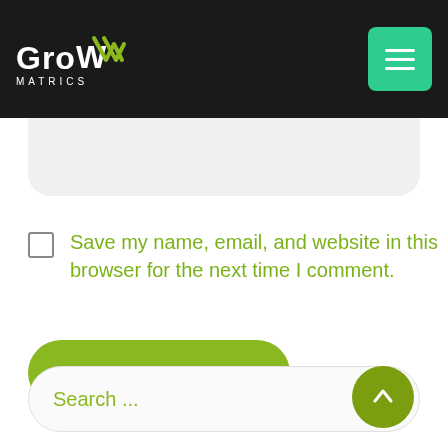[Figure (logo): GrowMatrics logo with white text on dark background and green checkmark W, alongside a teal hamburger menu button]
Save my name, email, and website in this browser for the next time I comment.
Post Comment
Search ...